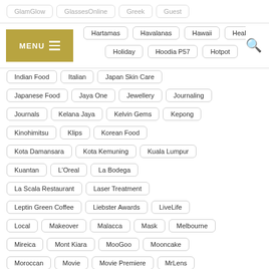GlamGlow
GlassesOnline
Greek
Guest
[Figure (other): Navigation menu bar with MENU button (gold/olive background) and hamburger icon, with tag links: Hartamas, Havalanas, Hawaii, Health, Holiday, Hoodia P57, Hotpot, and a search icon]
Indian Food
Italian
Japan Skin Care
Japanese Food
Jaya One
Jewellery
Journaling
Journals
Kelana Jaya
Kelvin Gems
Kepong
Kinohimitsu
Klips
Korean Food
Kota Damansara
Kota Kemuning
Kuala Lumpur
Kuantan
L'Oreal
La Bodega
La Scala Restaurant
Laser Treatment
Leptin Green Coffee
Liebster Awards
LiveLife
Local
Makeover
Malacca
Mask
Melbourne
Mireica
Mont Kiara
MooGoo
Mooncake
Moroccan
Movie
Movie Premiere
MrLens
Muar
Music
Mystery Box
Natta Cosme